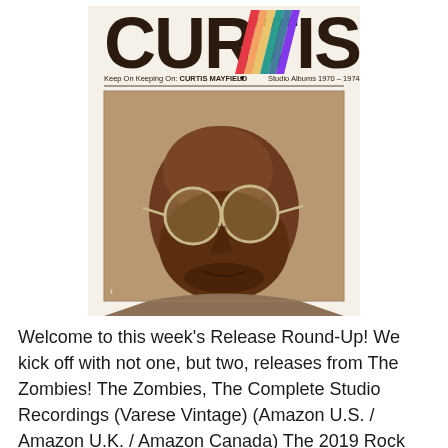[Figure (photo): Album cover for 'Keep On Keeping On: Curtis Mayfield Studio Albums 1970-1974'. Large bold text 'CURTIS' at top with a diagonal rainbow stripe through the 'I'. Below is a sepia-toned close-up portrait photograph of Curtis Mayfield wearing large round glasses, looking downward slightly, with a warm smile.]
Welcome to this week's Release Round-Up! We kick off with not one, but two, releases from The Zombies! The Zombies, The Complete Studio Recordings (Varese Vintage) (Amazon U.S. / Amazon U.K. / Amazon Canada) The 2019 Rock and Roll Hall of Fame